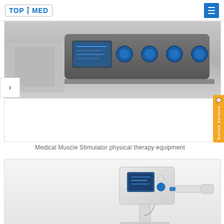TOP MED
[Figure (photo): Medical Muscle Stimulator physical therapy equipment device - top portion showing control panel with blue dial buttons on a gray metallic unit]
Medical Muscle Stimulator physical therapy equipment
[Figure (photo): White medical physical therapy device with LCD touchscreen display and attached handheld applicator on a stand - shock wave therapy equipment]